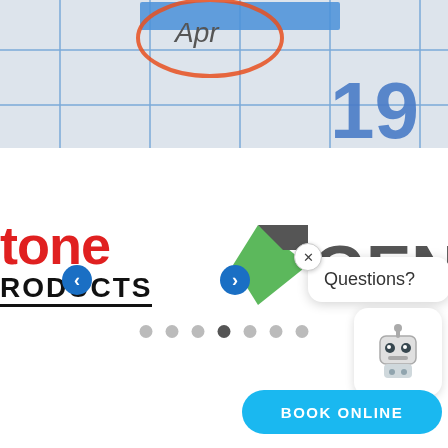[Figure (photo): Close-up of a calendar page showing 'Apr' text circled in orange/red, with a blue highlighted box at top and the number 19 visible in blue. Calendar grid lines are blue.]
[Figure (logo): Partially visible logo reading 'tone' in red bold text (full word likely 'Keystone' or similar) above 'RODUCTS' in black bold text with underline (full word likely 'PRODUCTS'), with a blue left-arrow navigation button overlaid.]
[Figure (logo): Partially visible logo showing a green triangular shape followed by 'GENI' text in dark gray bold letters, with a blue right-arrow navigation button, partially cut off on right side.]
[Figure (other): Carousel navigation dots — 7 dots in a row, the 4th (center) dot is dark/active, rest are light gray.]
[Figure (screenshot): Chat widget popup with an X close button, a speech bubble saying 'Questions?', and a robot/chatbot icon below in a rounded white card.]
[Figure (other): Blue rounded-rectangle button with white bold text 'BOOK ONLINE'.]